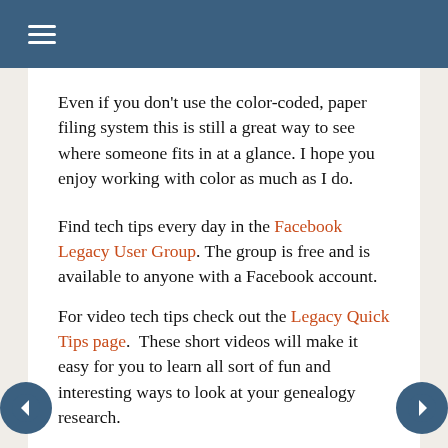≡
Even if you don't use the color-coded, paper filing system this is still a great way to see where someone fits in at a glance. I hope you enjoy working with color as much as I do.
Find tech tips every day in the Facebook Legacy User Group. The group is free and is available to anyone with a Facebook account.
For video tech tips check out the Legacy Quick Tips page.  These short videos will make it easy for you to learn all sort of fun and interesting ways to look at your genealogy research.